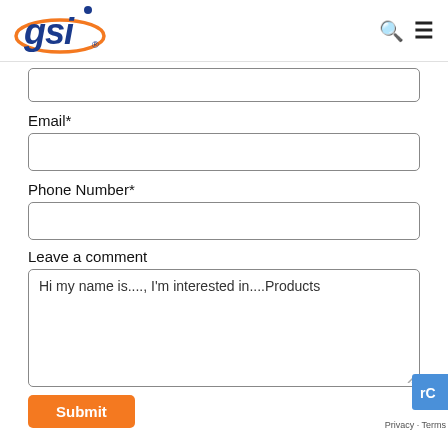[Figure (logo): GSI company logo with italic blue text and orange swoosh, registered trademark symbol]
Email*
Phone Number*
Leave a comment
Hi my name is...., I'm interested in....Products
Submit